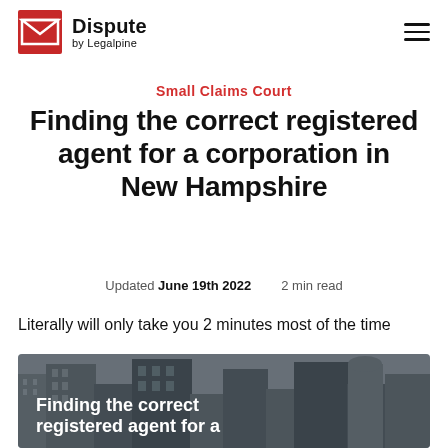Dispute by Legalpine
Small Claims Court
Finding the correct registered agent for a corporation in New Hampshire
Updated June 19th 2022   2 min read
Literally will only take you 2 minutes most of the time
[Figure (photo): Aerial view of tall buildings / skyscrapers with overlay text: Finding the correct registered agent for a]